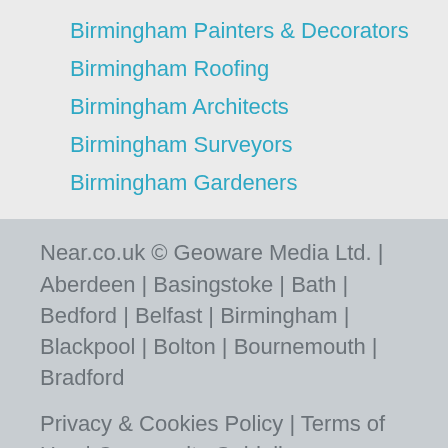Birmingham Painters & Decorators
Birmingham Roofing
Birmingham Architects
Birmingham Surveyors
Birmingham Gardeners
Near.co.uk © Geoware Media Ltd. | Aberdeen | Basingstoke | Bath | Bedford | Belfast | Birmingham | Blackpool | Bolton | Bournemouth | Bradford
Privacy & Cookies Policy | Terms of Use | Community Guidelines
support@near.co.uk